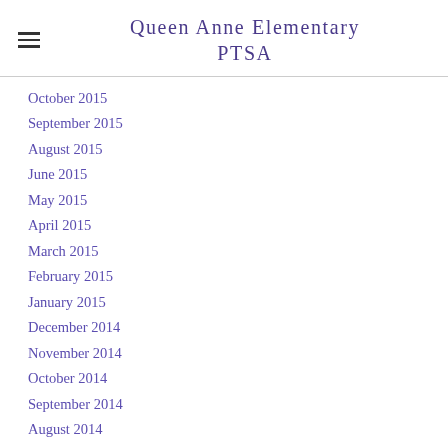Queen Anne Elementary PTSA
October 2015
September 2015
August 2015
June 2015
May 2015
April 2015
March 2015
February 2015
January 2015
December 2014
November 2014
October 2014
September 2014
August 2014
July 2014
June 2014
May 2014
April 2014